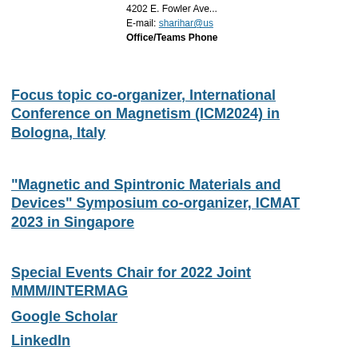4202 E. Fowler Ave… E-mail: sharihar@us… Office/Teams Phone…
Focus topic co-organizer, International Conference on Magnetism (ICM2024) in Bologna, Italy
"Magnetic and Spintronic Materials and Devices" Symposium co-organizer, ICMAT 2023 in Singapore
Special Events Chair for 2022 Joint MMM/INTERMAG
Google Scholar
LinkedIn